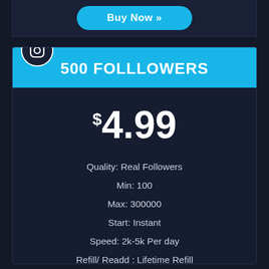Buy Now »
500 FOLLLOWERS
$4.99
Quality: Real Followers
Min: 100
Max: 300000
Start: Instant
Speed: 2k-5k Per day
Refill/ Readd : Lifetime Refill
Guarantee: LifeTime
Buy Now »